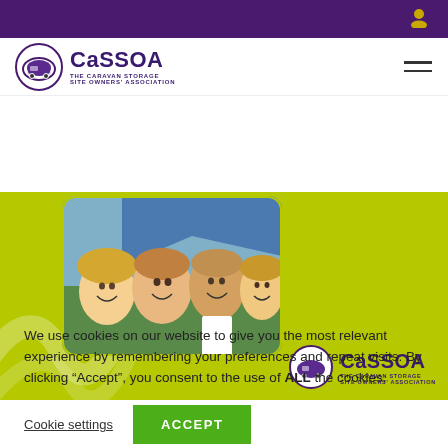CaSSSOA — The Caravan Storage Site Owners' Association — navigation header with user icon and hamburger menu
[Figure (photo): Hero banner with yellow-green background, decorative swirl lines on the left, a rounded rectangular photo of a smiling family of four (two adults, two children) in the centre, and the CaSSSOA logo (circle with caravan icon and text 'CaSSSOA THE CARAVAN STORAGE SITE OWNERS' ASSOCIATION') in the bottom-right corner.]
We use cookies on our website to give you the most relevant experience by remembering your preferences and repeat visits. By clicking “Accept”, you consent to the use of ALL the cookies.
Cookie settings   ACCEPT